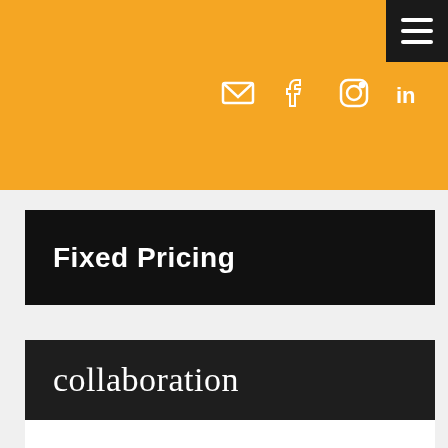Navigation header with social icons: email, facebook, instagram, linkedin, twitter, Australian flag, New Zealand flag; hamburger menu
Fixed Pricing
collaboration